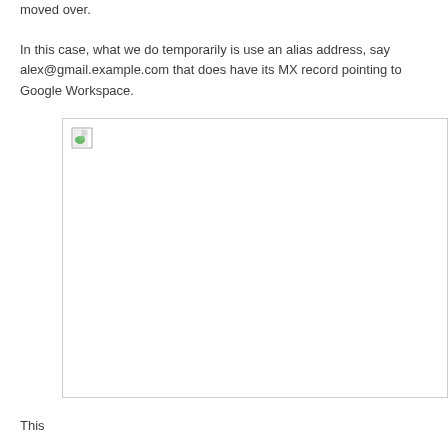moved over.

In this case, what we do temporarily is use an alias address, say alex@gmail.example.com that does have its MX record pointing to Google Workspace.
[Figure (other): Broken image placeholder with a small broken-image icon in the top-left corner, inside a rectangular bordered box.]
This